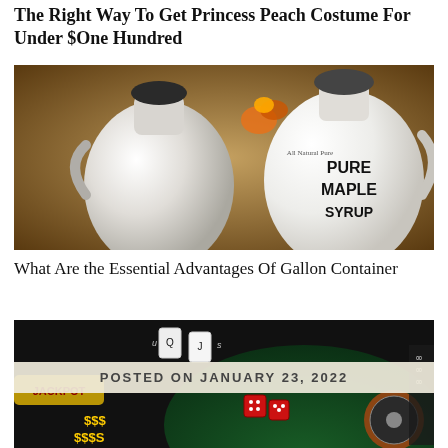The Right Way To Get Princess Peach Costume For Under $One Hundred
[Figure (photo): Photo of two white ceramic jugs/containers, one with a dark stopper, and a white jug with 'Pure Maple Syrup' text label on the right, set against a warm brown background with autumn leaves]
What Are the Essential Advantages Of Gallon Container
[Figure (photo): Casino-themed image with a dark background showing playing cards, dice, poker chips, jackpot text, dollar signs, and a roulette wheel, with a banner overlay reading 'POSTED ON JANUARY 23, 2022']